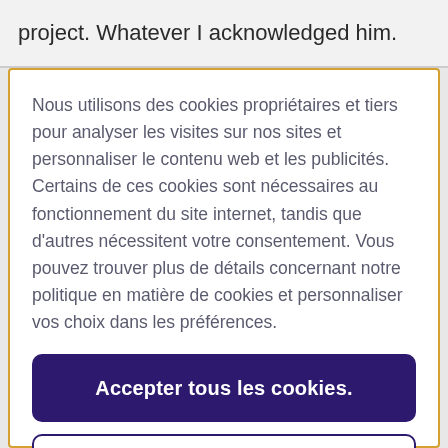project. Whatever I acknowledged him.
Nous utilisons des cookies propriétaires et tiers pour analyser les visites sur nos sites et personnaliser le contenu web et les publicités. Certains de ces cookies sont nécessaires au fonctionnement du site internet, tandis que d'autres nécessitent votre consentement. Vous pouvez trouver plus de détails concernant notre politique en matière de cookies et personnaliser vos choix dans les préférences.
Accepter tous les cookies.
Paramètres des cookies